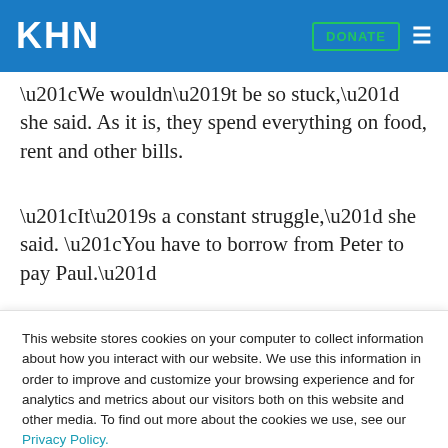KHN
“We wouldn’t be so stuck,” she said. As it is, they spend everything on food, rent and other bills.
“It’s a constant struggle,” she said. “You have to borrow from Peter to pay Paul.”
Despite the prevalence of treatment-resistant
This website stores cookies on your computer to collect information about how you interact with our website. We use this information in order to improve and customize your browsing experience and for analytics and metrics about our visitors both on this website and other media. To find out more about the cookies we use, see our Privacy Policy.
Accept